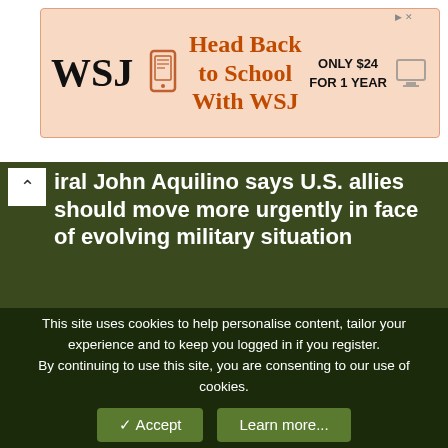[Figure (other): WSJ advertisement banner: Head Back to School With WSJ, Only $24 For 1 Year]
Admiral John Aquilino says U.S. allies should move more urgently in face of evolving military situation
Prime Minister Justin Trudeau has said Canada has no plans to acquire nuclear submarines of its own and dismissed the deal involving the United States, Australia and the United Kingdom as only being about selling defence hardware.
https://www.cbc.ca/news/politics/indo-pacific-aquilino-warning-1.6257200?ref=mobilerss&cmp=newsletter_CBC%20News%20Top%20Hea
This site uses cookies to help personalise content, tailor your experience and to keep you logged in if you register.
By continuing to use this site, you are consenting to our use of cookies.